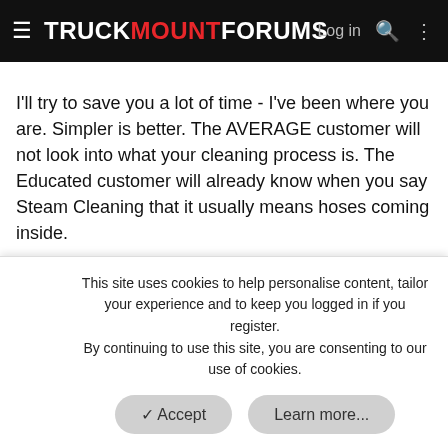TRUCKMOUNTFORUMS  Log in
I'll try to save you a lot of time - I've been where you are. Simpler is better. The AVERAGE customer will not look into what your cleaning process is. The Educated customer will already know when you say Steam Cleaning that it usually means hoses coming inside.
My website I try to simplify every year - the things customers want to know are - What is your price, what is your availability, what is your dry time.
Beyond that - they don't care much about fiber types, techniques etc.
This site uses cookies to help personalise content, tailor your experience and to keep you logged in if you register.
By continuing to use this site, you are consenting to our use of cookies.